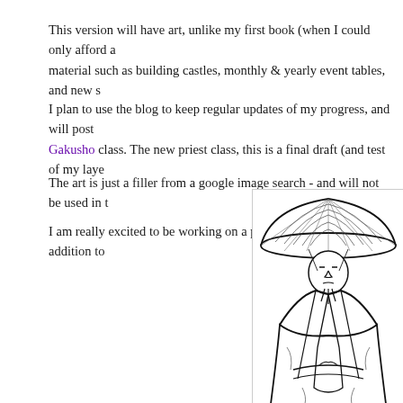This version will have art, unlike my first book (when I could only afford a material such as building castles, monthly & yearly event tables, and new s
I plan to use the blog to keep regular updates of my progress, and will post Gakusho class. The new priest class, this is a final draft (and test of my laye
The art is just a filler from a google image search - and will not be used in t
I am really excited to be working on a personal project again (in addition to
[Figure (illustration): Line drawing illustration of a Japanese Buddhist priest or monk wearing a wide conical straw hat and traditional robes, shown from the torso up, with a stern expression.]